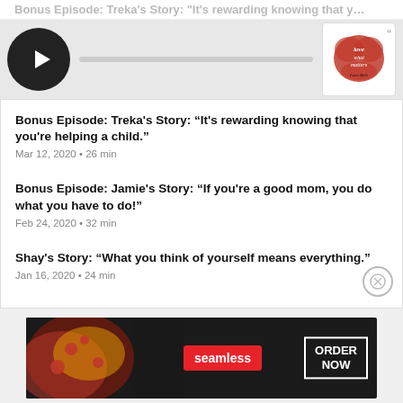[Figure (screenshot): Podcast player bar with play button, progress bar, and podcast cover art thumbnail for 'Love What Matters' podcast]
Bonus Episode: Treka’s Story: “It’s rewarding knowing that you’re helping a child.”
Mar 12, 2020 • 26 min
Bonus Episode: Jamie’s Story: “If you’re a good mom, you do what you have to do!”
Feb 24, 2020 • 32 min
Shay’s Story: “What you think of yourself means everything.”
Jan 16, 2020 • 24 min
[Figure (photo): Seamless food delivery advertisement banner with pizza image, Seamless logo in red, and ORDER NOW button]